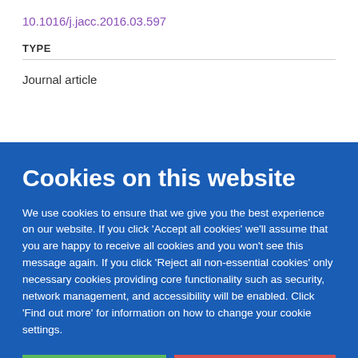10.1016/j.jacc.2016.03.597
TYPE
Journal article
Cookies on this website
We use cookies to ensure that we give you the best experience on our website. If you click 'Accept all cookies' we'll assume that you are happy to receive all cookies and you won't see this message again. If you click 'Reject all non-essential cookies' only necessary cookies providing core functionality such as security, network management, and accessibility will be enabled. Click 'Find out more' for information on how to change your cookie settings.
Accept all cookies
Reject all non-essential cookies